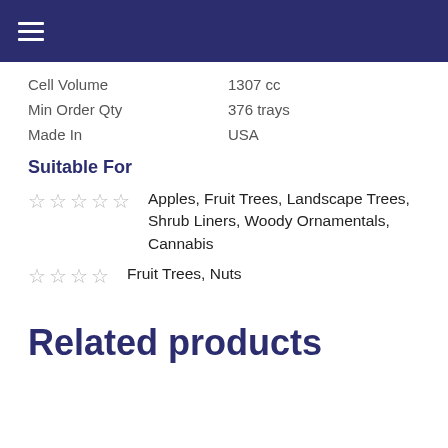☰
| Cell Volume | 1307 cc |
| Min Order Qty | 376 trays |
| Made In | USA |
Suitable For
★★★★★  Apples, Fruit Trees, Landscape Trees, Shrub Liners, Woody Ornamentals, Cannabis
★★★★  Fruit Trees, Nuts
Related products